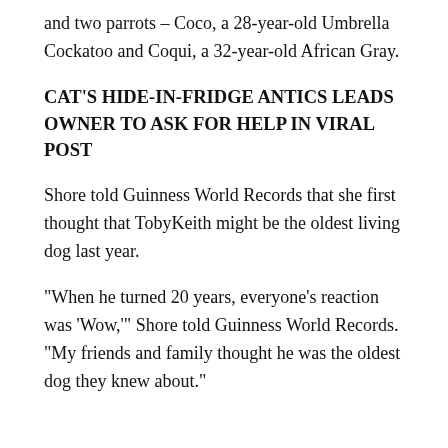and two parrots – Coco, a 28-year-old Umbrella Cockatoo and Coqui, a 32-year-old African Gray.
CAT'S HIDE-IN-FRIDGE ANTICS LEADS OWNER TO ASK FOR HELP IN VIRAL POST
Shore told Guinness World Records that she first thought that TobyKeith might be the oldest living dog last year.
“When he turned 20 years, everyone’s reaction was ‘Wow,’” Shore told Guinness World Records. “My friends and family thought he was the oldest dog they knew about.”